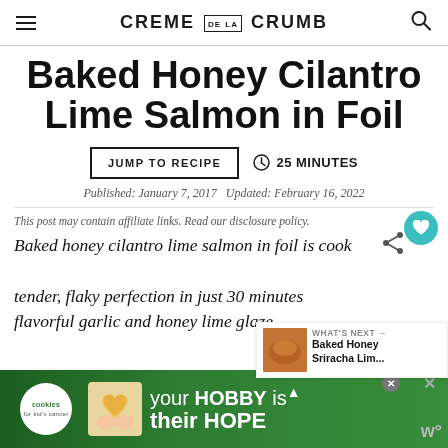CREME DE LA CRUMB
Baked Honey Cilantro Lime Salmon in Foil
JUMP TO RECIPE  |  25 MINUTES
Published: January 7, 2017    Updated: February 16, 2022
This post may contain affiliate links. Read our disclosure policy.
Baked honey cilantro lime salmon in foil is cooked to tender, flaky perfection in just 30 minutes with a flavorful garlic and honey lime glaze.
[Figure (photo): Advertisement banner for cookies for kid's cancer charity showing a heart-shaped cookie and text 'your HOBBY is their HOPE']